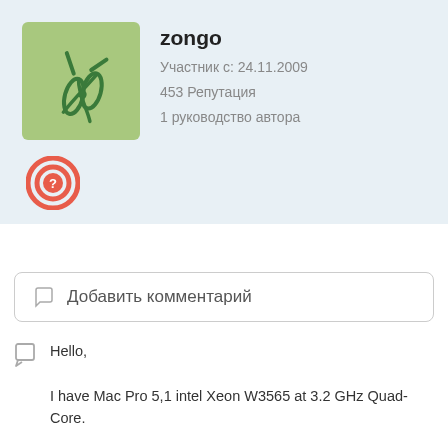[Figure (illustration): User avatar icon: green background square with a stylized scissors/tool icon in dark green]
zongo
Участник с: 24.11.2009
453 Репутация
1 руководство автора
[Figure (illustration): Red concentric circle badge with a question mark inside]
Добавить комментарий
Hello,
I have Mac Pro 5,1 intel Xeon W3565 at 3.2 GHz Quad-Core.
It is easy to upgrade in W3565 at 3.33 GHz 6-Core ???